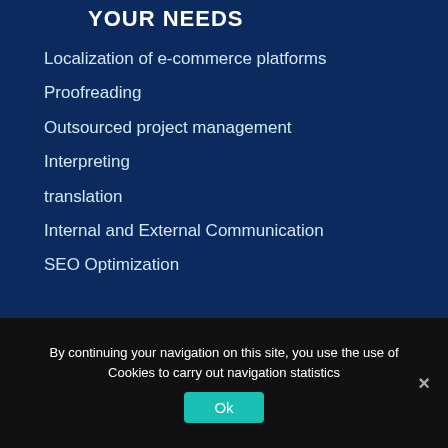YOUR NEEDS
Localization of e-commerce platforms
Proofreading
Outsourced project management
Interpreting
translation
Internal and External Communication
SEO Optimization
By continuing your navigation on this site, you use the use of Cookies to carry out navigation statistics
Ok